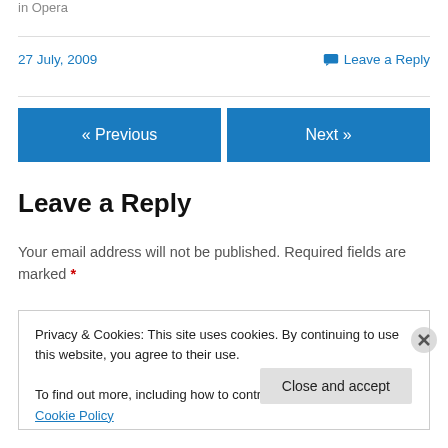in Opera
27 July, 2009
Leave a Reply
« Previous
Next »
Leave a Reply
Your email address will not be published. Required fields are marked *
Privacy & Cookies: This site uses cookies. By continuing to use this website, you agree to their use.
To find out more, including how to control cookies, see here: Cookie Policy
Close and accept